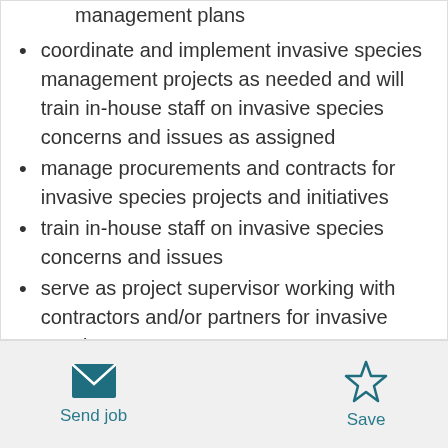assist in developing invasive species management plans
coordinate and implement invasive species management projects as needed and will train in-house staff on invasive species concerns and issues as assigned
manage procurements and contracts for invasive species projects and initiatives
train in-house staff on invasive species concerns and issues
serve as project supervisor working with contractors and/or partners for invasive species
Send job  Save